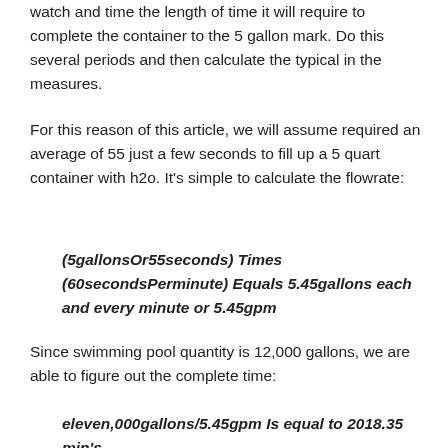watch and time the length of time it will require to complete the container to the 5 gallon mark. Do this several periods and then calculate the typical in the measures.
For this reason of this article, we will assume required an average of 55 just a few seconds to fill up a 5 quart container with h2o. It’s simple to calculate the flowrate:
Since swimming pool quantity is 12,000 gallons, we are able to figure out the complete time: